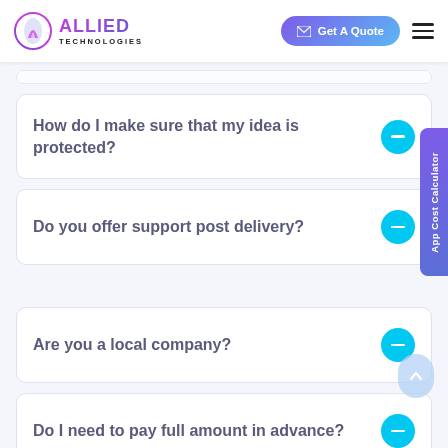Allied Technologies — Get A Quote
How do I make sure that my idea is protected?
Do you offer support post delivery?
Are you a local company?
Do I need to pay full amount in advance?